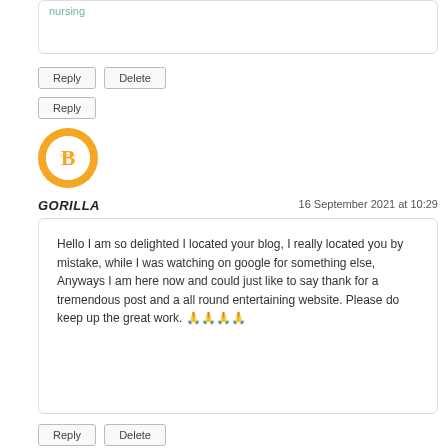nursing
Reply
Delete
Reply
[Figure (logo): Blogger orange circular logo icon]
GORILLA
16 September 2021 at 10:29
Hello I am so delighted I located your blog, I really located you by mistake, while I was watching on google for something else, Anyways I am here now and could just like to say thank for a tremendous post and a all round entertaining website. Please do keep up the great work. 🙏🙏🙏🙏
Reply
Delete
Reply